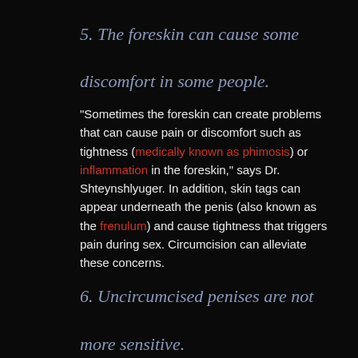5. The foreskin can cause some discomfort in some people.
"Sometimes the foreskin can create problems that can cause pain or discomfort such as tightness (medically known as phimosis) or inflammation in the foreskin," says Dr. Shteynshlyuger. In addition, skin tags can appear underneath the penis (also known as the frenulum) and cause tightness that triggers pain during sex. Circumcision can alleviate these concerns.
6. Uncircumcised penises are not more sensitive.